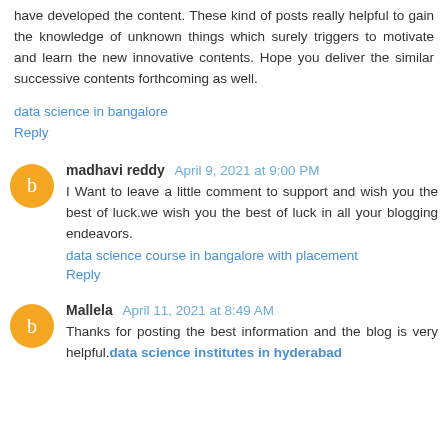have developed the content. These kind of posts really helpful to gain the knowledge of unknown things which surely triggers to motivate and learn the new innovative contents. Hope you deliver the similar successive contents forthcoming as well.
data science in bangalore
Reply
madhavi reddy April 9, 2021 at 9:00 PM
I Want to leave a little comment to support and wish you the best of luck.we wish you the best of luck in all your blogging endeavors.
data science course in bangalore with placement
Reply
Mallela April 11, 2021 at 8:49 AM
Thanks for posting the best information and the blog is very helpful.data science institutes in hyderabad